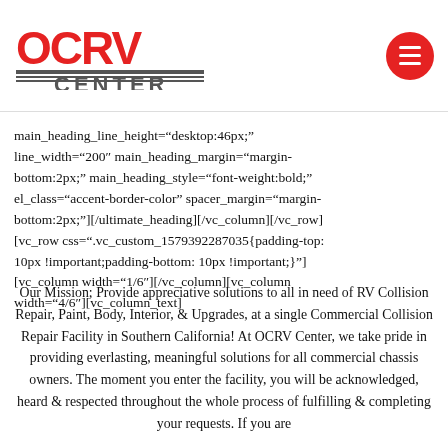[Figure (logo): OCRV Center logo with red letters OCRV on top and CENTER text below with horizontal lines]
main_heading_line_height="desktop:46px;" line_width="200" main_heading_margin="margin-bottom:2px;" main_heading_style="font-weight:bold;" el_class="accent-border-color" spacer_margin="margin-bottom:2px;"][/ultimate_heading][/vc_column][/vc_row] [vc_row css=".vc_custom_1579392287035{padding-top: 10px !important;padding-bottom: 10px !important;}"] [vc_column width="1/6"][/vc_column][vc_column width="4/6"][vc_column_text]
Our Mission; Provide appreciative solutions to all in need of RV Collision Repair, Paint, Body, Interior, & Upgrades, at a single Commercial Collision Repair Facility in Southern California! At OCRV Center, we take pride in providing everlasting, meaningful solutions for all commercial chassis owners. The moment you enter the facility, you will be acknowledged, heard & respected throughout the whole process of fulfilling & completing your requests. If you are